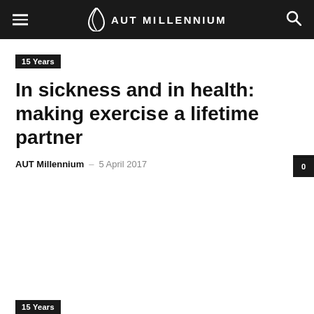AUT MILLENNIUM
15 Years
In sickness and in health: making exercise a lifetime partner
AUT Millennium – 5 April 2017
15 Years